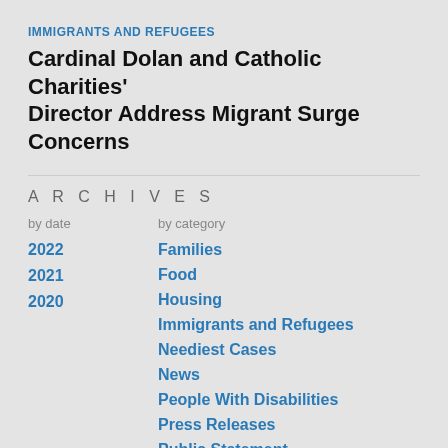IMMIGRANTS AND REFUGEES
Cardinal Dolan and Catholic Charities' Director Address Migrant Surge Concerns
ARCHIVES
by date	by category
2022
2021
2020
Families
Food
Housing
Immigrants and Refugees
Neediest Cases
News
People With Disabilities
Press Releases
Public Statement
Youth